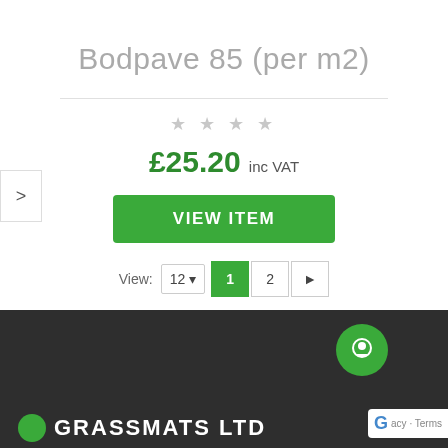Bodpave 85 (per m2)
£25.20 inc VAT
VIEW ITEM
View: 12  1  2  ►
[Figure (logo): Grassmats Ltd logo with green circle and white text]
[Figure (other): Green circular chat button with person icon]